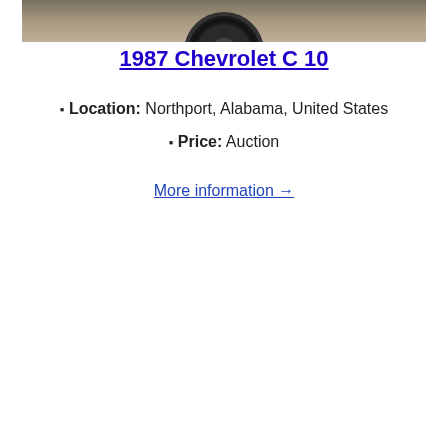[Figure (photo): Partial view of a vehicle, showing a tire/wheel close-up at the top of the image, with a concrete or pavement surface visible below.]
1987 Chevrolet C 10
📍 Location: Northport, Alabama, United States
📍 Price: Auction
More information →